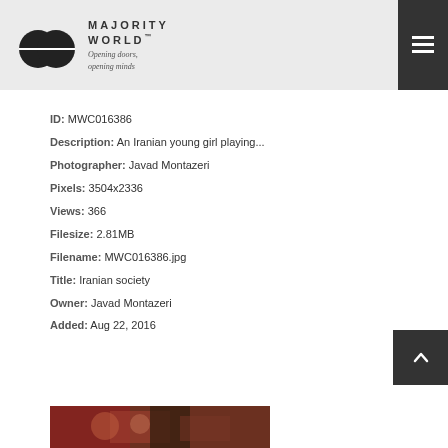MAJORITY WORLD™ Opening doors, opening minds
ID: MWC016386
Description: An Iranian young girl playing...
Photographer: Javad Montazeri
Pixels: 3504x2336
Views: 366
Filesize: 2.81MB
Filename: MWC016386.jpg
Title: Iranian society
Owner: Javad Montazeri
Added: Aug 22, 2016
[Figure (photo): Thumbnail photo of Iranian girl playing, partially visible at bottom of page]